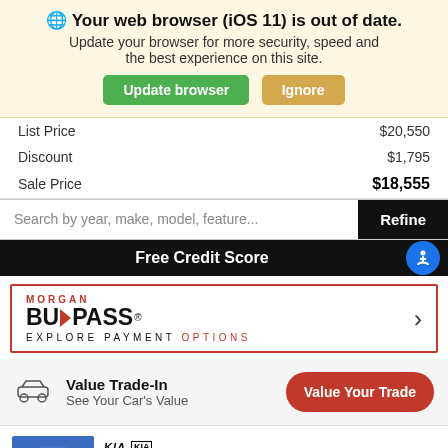🌐 Your web browser (iOS 11) is out of date. Update your browser for more security, speed and the best experience on this site.
Update browser | Ignore
|  |  |
| --- | --- |
| List Price | $20,550 |
| Discount | $1,795 |
| Sale Price | $18,555 |
Search by year, make, model, feature...
Refine
Free Credit Score
[Figure (logo): Morgan BuyPass logo with text EXPLORE PAYMENT OPTIONS inside a red border]
Value Your Trade
Value Trade-In
See Your Car's Value
Certified Used 2019
Certified Pre-Owned 2019 Kia Rio